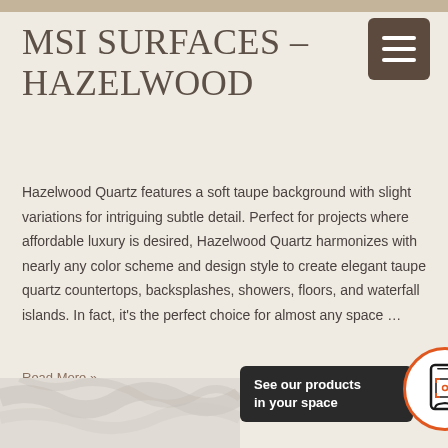MSI SURFACES – HAZELWOOD
Hazelwood Quartz features a soft taupe background with slight variations for intriguing subtle detail. Perfect for projects where affordable luxury is desired, Hazelwood Quartz harmonizes with nearly any color scheme and design style to create elegant taupe quartz countertops, backsplashes, showers, floors, and waterfall islands. In fact, it's the perfect choice for almost any space …
Read More »
[Figure (photo): Bottom portion showing a marble/quartz surface with white and grey veining, partially visible]
[Figure (infographic): AR/product visualization banner with dark box saying 'See our products in your space' and a circular icon with smartphone AR graphic, orange border]